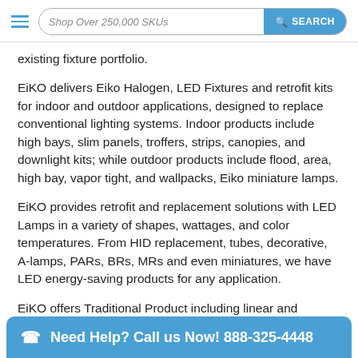Shop Over 250,000 SKUs  SEARCH
existing fixture portfolio.
EiKO delivers Eiko Halogen, LED Fixtures and retrofit kits for indoor and outdoor applications, designed to replace conventional lighting systems. Indoor products include high bays, slim panels, troffers, strips, canopies, and downlight kits; while outdoor products include flood, area, high bay, vapor tight, and wallpacks, Eiko miniature lamps.
EiKO provides retrofit and replacement solutions with LED Lamps in a variety of shapes, wattages, and color temperatures. From HID replacement, tubes, decorative, A-lamps, PARs, BRs, MRs and even miniatures, we have LED energy-saving products for any application.
EiKO offers Traditional Product including linear and compact fluor... specia... g...
Need Help? Call us Now! 888-325-4448